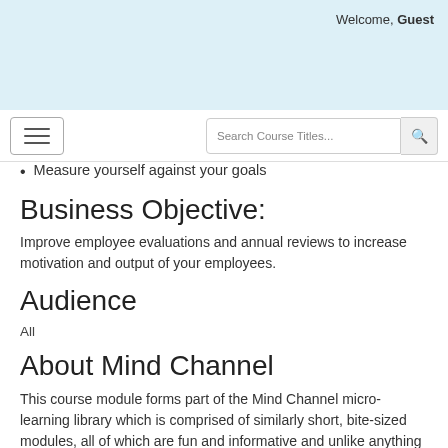Welcome, Guest
Measure yourself against your goals
Business Objective:
Improve employee evaluations and annual reviews to increase motivation and output of your employees.
Audience
All
About Mind Channel
This course module forms part of the Mind Channel micro-learning library which is comprised of similarly short, bite-sized modules, all of which are fun and informative and unlike anything else on the market. The full resource covers everything from personal development to leadership to sales, project management and